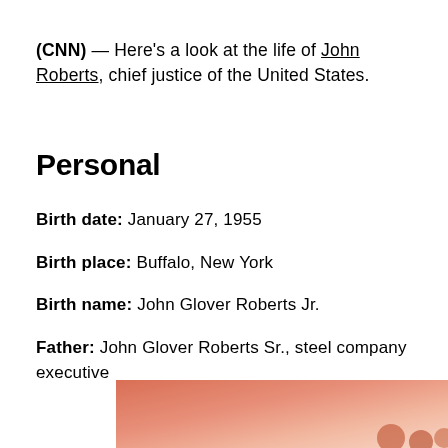(CNN) — Here's a look at the life of John Roberts, chief justice of the United States.
Personal
Birth date: January 27, 1955
Birth place: Buffalo, New York
Birth name: John Glover Roberts Jr.
Father: John Glover Roberts Sr., steel company executive
[Figure (photo): Partial view of a photo at the bottom of the page with a warm orange/salmon colored gradient background and some circular elements visible at the bottom right.]